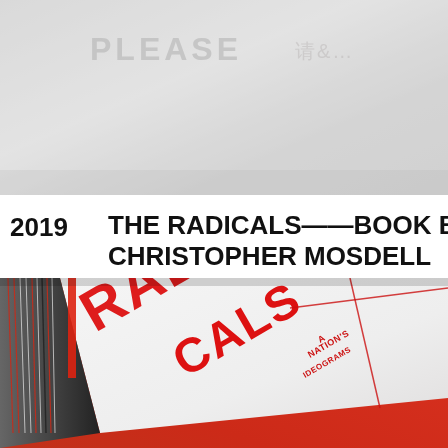[Figure (photo): Close-up photograph of a light gray textured paper/book page with faint printed text 'PLEASE' visible on the upper left and partial text on the right, in a soft monochrome tone.]
2019
THE RADICALS—— BOOK BY CHRISTOPHER MOSDELL
[Figure (photo): Close-up photograph of a book titled 'Radicals' with red and black spine binding (Coptic stitch), showing the cover with bold red text 'RADICALS' and additional text 'A NATION'S IDEOGRAMS' on a white background, resting on a red surface.]